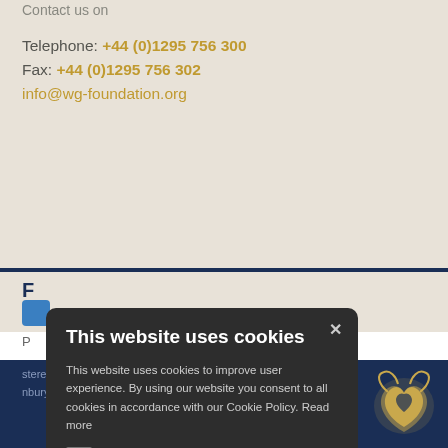Contact us on
Telephone: +44 (0)1295 756 300
Fax: +44 (0)1295 756 302
info@wg-foundation.org
[Figure (screenshot): Cookie consent modal dialog with dark background. Title: 'This website uses cookies'. Body text: 'This website uses cookies to improve user experience. By using our website you consent to all cookies in accordance with our Cookie Policy. Read more'. Checkbox labeled 'STRICTLY NECESSARY' is checked. Two buttons: 'ACCEPT ALL' (gold/tan) and 'DECLINE ALL' (outlined). Show Details option with gear icon at bottom.]
Oxfordshire, OX17 2BS, United Kingdom.